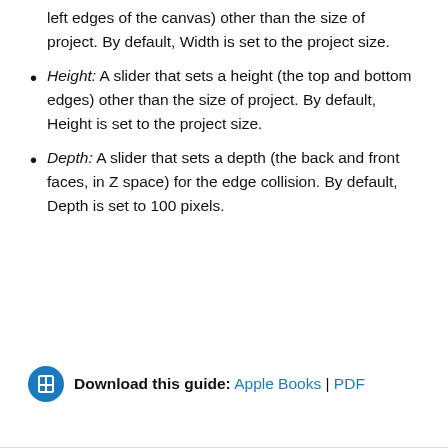Width: A slider that sets a width (the right and left edges of the canvas) other than the size of project. By default, Width is set to the project size.
Height: A slider that sets a height (the top and bottom edges) other than the size of project. By default, Height is set to the project size.
Depth: A slider that sets a depth (the back and front faces, in Z space) for the edge collision. By default, Depth is set to 100 pixels.
Download this guide: Apple Books | PDF